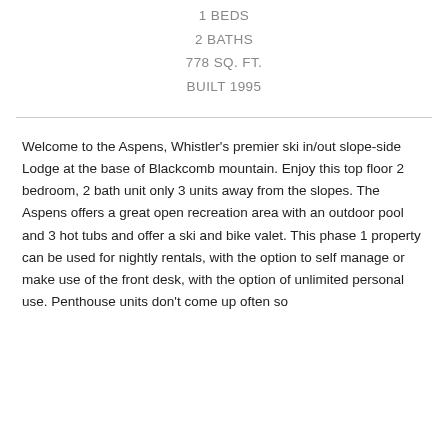1 BEDS
2 BATHS
778 SQ. FT.
BUILT 1995
Welcome to the Aspens, Whistler's premier ski in/out slope-side Lodge at the base of Blackcomb mountain. Enjoy this top floor 2 bedroom, 2 bath unit only 3 units away from the slopes. The Aspens offers a great open recreation area with an outdoor pool and 3 hot tubs and offer a ski and bike valet. This phase 1 property can be used for nightly rentals, with the option to self manage or make use of the front desk, with the option of unlimited personal use. Penthouse units don't come up often so